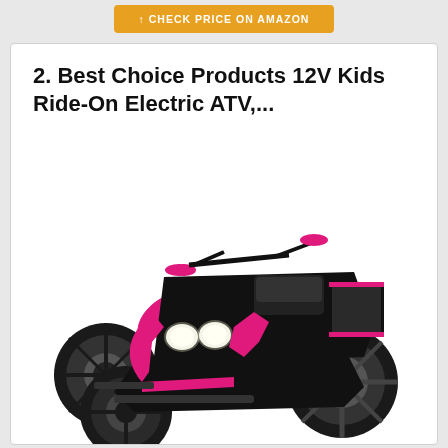[Figure (other): Partial orange/gold Amazon button at top of page saying CHECK PRICE ON AMAZON]
2. Best Choice Products 12V Kids Ride-On Electric ATV,...
[Figure (photo): A black and pink kids 12V electric ride-on ATV toy with four large off-road tires, pink handlebars and frame accents, white headlights, and a seat with a small storage area on the back.]